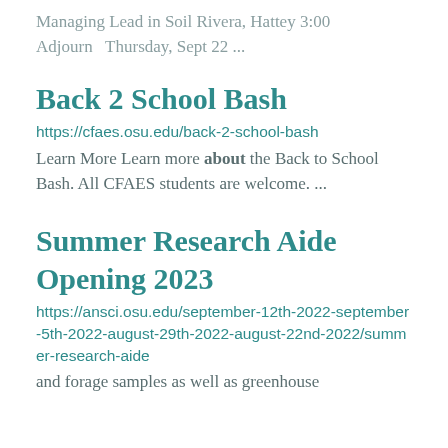Managing Lead in Soil Rivera, Hattey 3:00 Adjourn   Thursday, Sept 22 ...
Back 2 School Bash
https://cfaes.osu.edu/back-2-school-bash
Learn More Learn more about the Back to School Bash. All CFAES students are welcome. ...
Summer Research Aide Opening 2023
https://ansci.osu.edu/september-12th-2022-september-5th-2022-august-29th-2022-august-22nd-2022/summer-research-aide
and forage samples as well as greenhouse